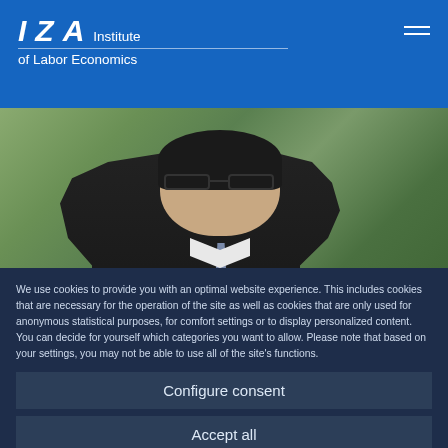IZA Institute of Labor Economics
[Figure (photo): Portrait photo of Kim, Jun Hyung — man in dark suit with tie, glasses, photographed outdoors with green foliage background]
Kim, Jun Hyung
Research Affiliate
We use cookies to provide you with an optimal website experience. This includes cookies that are necessary for the operation of the site as well as cookies that are only used for anonymous statistical purposes, for comfort settings or to display personalized content. You can decide for yourself which categories you want to allow. Please note that based on your settings, you may not be able to use all of the site's functions.
Configure consent
Accept all